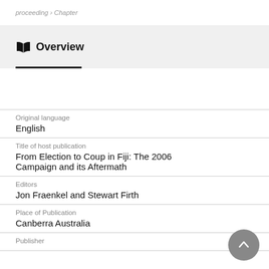proceeding › Chapter
Overview
Original language
English
Title of host publication
From Election to Coup in Fiji: The 2006 Campaign and its Aftermath
Editors
Jon Fraenkel and Stewart Firth
Place of Publication
Canberra Australia
Publisher